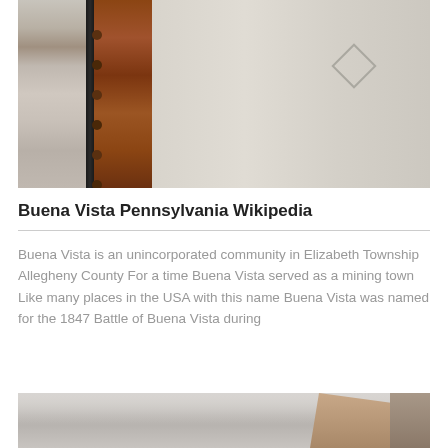[Figure (photo): Close-up photo of a rusty metal door or safe mechanism with brown rust-stained surfaces, dark vertical bar, and cream/white wall in background]
Buena Vista Pennsylvania Wikipedia
Buena Vista is an unincorporated community in Elizabeth Township Allegheny County For a time Buena Vista served as a mining town Like many places in the USA with this name Buena Vista was named for the 1847 Battle of Buena Vista during
[Figure (photo): Foggy outdoor photo showing a large rusty/brown industrial structure or building partially visible through thick fog or mist]